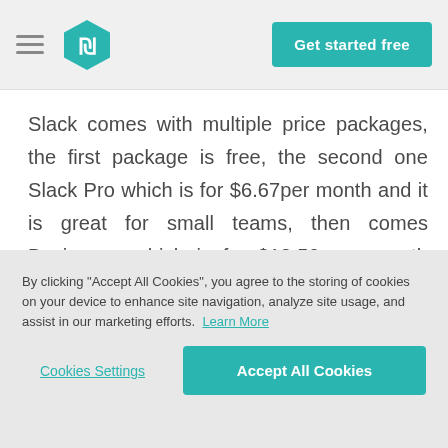[Figure (logo): Navigation header with hamburger menu icon, teal hexagon logo with 'W' symbol, and a teal 'Get started free' button on the right]
Slack comes with multiple price packages, the first package is free, the second one Slack Pro which is for $6.67per month and it is great for small teams, then comes Business+ which is for $12.50 per month and it works well for larger teams.
By clicking “Accept All Cookies”, you agree to the storing of cookies on your device to enhance site navigation, analyze site usage, and assist in our marketing efforts. Learn More
Cookies Settings
Accept All Cookies